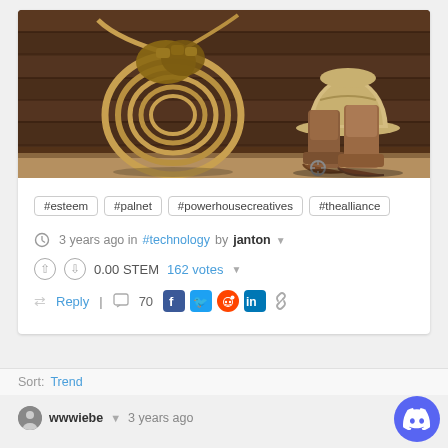[Figure (photo): A western/cowboy themed banner image showing a coiled lasso rope with leather gloves on the left, and cowboy boots with spurs and a cowboy hat leaning against a dark wooden plank wall on the right.]
#esteem   #palnet   #powerhousecreatives   #thealliance
3 years ago in #technology by janton
0.00 STEM   162 votes
Reply   70  [social icons]
Sort: Trending
wwwiebe  ▼  3 years ago